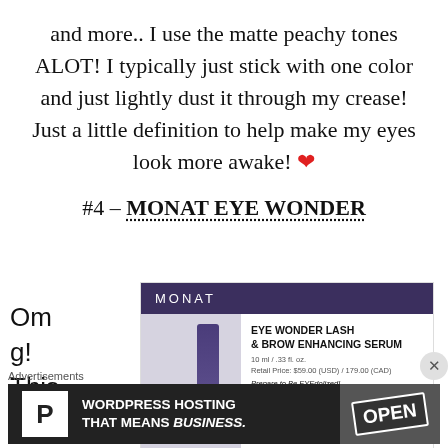and more.. I use the matte peachy tones ALOT! I typically just stick with one color and just lightly dust it through my crease! Just a little definition to help make my eyes look more awake! ❤
#4 – MONAT EYE WONDER
Omg! This
[Figure (screenshot): MONAT product page showing Eye Wonder Lash & Brow Enhancing Serum with dark purple header, product image of pen/serum, and product details including price $59.00 (USD) / 179.00 (CAD)]
Advertisements
[Figure (screenshot): WordPress Hosting advertisement banner: 'WORDPRESS HOSTING THAT MEANS BUSINESS.' with P logo and Open sign image]